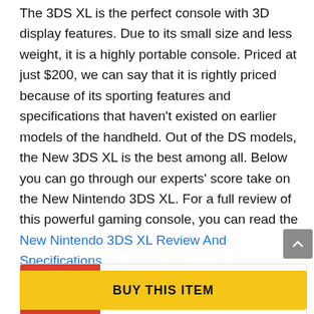The 3DS XL is the perfect console with 3D display features. Due to its small size and less weight, it is a highly portable console. Priced at just $200, we can say that it is rightly priced because of its sporting features and specifications that haven't existed on earlier models of the handheld. Out of the DS models, the New 3DS XL is the best among all. Below you can go through our experts' score take on the New Nintendo 3DS XL. For a full review of this powerful gaming console, you can read the New Nintendo 3DS XL Review And Specifications.
[Figure (other): Score card showing '8 5' in white text on red background with title 'New Nintendo 3DS']
BUY THIS ITEM